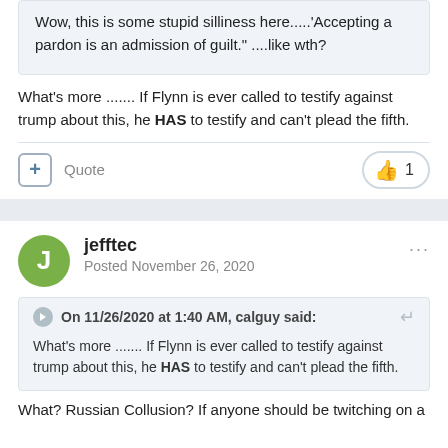Wow, this is some stupid silliness here.....'Accepting a pardon is an admission of guilt.' ....like wth?
What's more ....... If Flynn is ever called to testify against trump about this, he HAS to testify and can't plead the fifth.
jefftec
Posted November 26, 2020
On 11/26/2020 at 1:40 AM, calguy said:
What's more ....... If Flynn is ever called to testify against trump about this, he HAS to testify and can't plead the fifth.
What? Russian Collusion? If anyone should be twitching on a